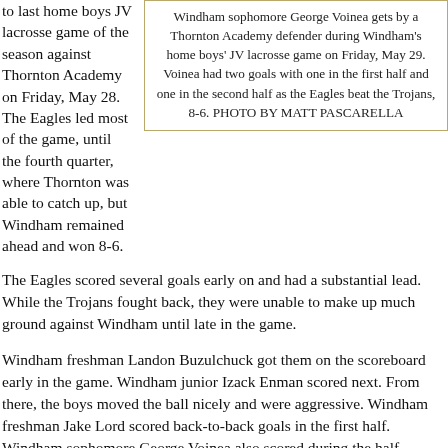to last home boys JV lacrosse game of the season against Thornton Academy on Friday, May 28. The Eagles led most of the game, until the fourth quarter, where Thornton was able to catch up, but Windham remained ahead and won 8-6.
Windham sophomore George Voinea gets by a Thornton Academy defender during Windham's home boys' JV lacrosse game on Friday, May 29. Voinea had two goals with one in the first half and one in the second half as the Eagles beat the Trojans, 8-6. PHOTO BY MATT PASCARELLA
The Eagles scored several goals early on and had a substantial lead. While the Trojans fought back, they were unable to make up much ground against Windham until late in the game.
Windham freshman Landon Buzulchuck got them on the scoreboard early in the game. Windham junior Izack Enman scored next. From there, the boys moved the ball nicely and were aggressive. Windham freshman Jake Lord scored back-to-back goals in the first half. Windham sophomore George Voinea also scored during the half.